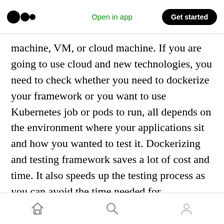Medium logo | Open in app | Get started
machine, VM, or cloud machine. If you are going to use cloud and new technologies, you need to check whether you need to dockerize your framework or you want to use Kubernetes job or pods to run, all depends on the environment where your applications sit and how you wanted to test it. Dockerizing and testing framework saves a lot of cost and time. It also speeds up the testing process as you can avoid the time needed for provisioning and deploying the test environment.
Home | Search | Profile